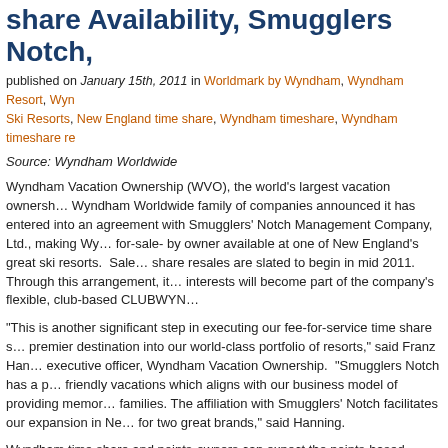share Availability, Smugglers Notch,
published on January 15th, 2011 in Worldmark by Wyndham, Wyndham Resort, Wyndham Ski Resorts, New England time share, Wyndham timeshare, Wyndham timeshare rentals
Source: Wyndham Worldwide
Wyndham Vacation Ownership (WVO), the world's largest vacation ownership company in the Wyndham Worldwide family of companies announced it has entered into an agreement with Smugglers' Notch Management Company, Ltd., making Wyndham for-sale- by owner available at one of New England's great ski resorts. Sale of time share resales are slated to begin in mid 2011. Through this arrangement, its interests will become part of the company's flexible, club-based CLUBWYN...
“This is another significant step in executing our fee-for-service time share strategy, adding a premier destination into our world-class portfolio of resorts,” said Franz Hanning, chief executive officer, Wyndham Vacation Ownership. “Smugglers Notch has a phenomenal family-friendly vacations which aligns with our business model of providing memorable vacations for families. The affiliation with Smugglers’ Notch facilitates our expansion in New England and is a win for two great brands,” said Hanning.
Wyndham time share and points-owners can expect the points-based internet allowing owners to vacation at more than 70 resorts and enjoy other vacation options and opportunities such as cruises and guided tours. Residential home purchases and rentals at the Resort are readily available by Smuggler’s Notch Management and leading time share resale companies such as buyatimeshare.com.
Consistently mentioned by major newspapers and ski magazines as a top-rated resort for family programs, the Resort is located in the Green Mountains of Vermont and features condominiums ranging from studios to five-bedroom homes, all clustered around... can enjoy a wide variety of year-round recreational programs and facilities including...